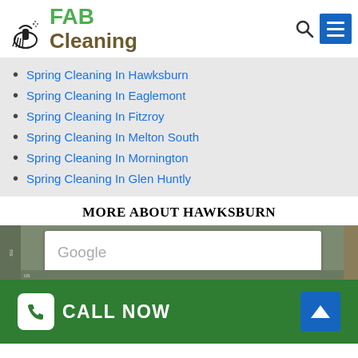[Figure (logo): FAB Cleaning logo with cleaning equipment icon, FAB in green and Cleaning in brown]
Spring Cleaning In Hawksburn
Spring Cleaning In Eaglemont
Spring Cleaning In Fitzroy
Spring Cleaning In Melton South
Spring Cleaning In Mornington
Spring Cleaning In Glen Huntly
MORE ABOUT HAWKSBURN
[Figure (screenshot): Google Maps embed showing map interface with Google watermark]
[Figure (other): Green footer bar with CALL NOW button and blue up-arrow button]